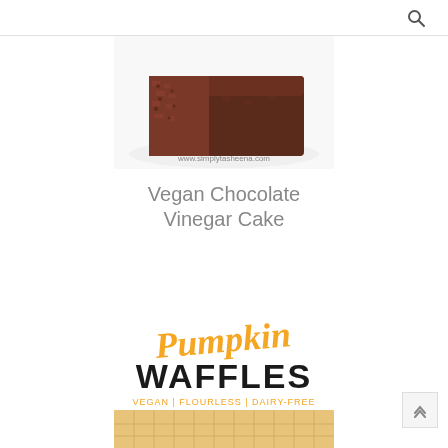[Figure (photo): Close-up of a vegan chocolate vinegar cake with a bite taken out, showing dark moist crumb texture. Watermark reads www.simplytasheena.com]
Vegan Chocolate Vinegar Cake
[Figure (photo): Recipe card image for Pumpkin Waffles with text: 'Pumpkin' in orange script, 'WAFFLES' in large bold black letters, 'VEGAN | FLOURLESS | DAIRY-FREE' in orange caps below, and waffles visible at bottom]